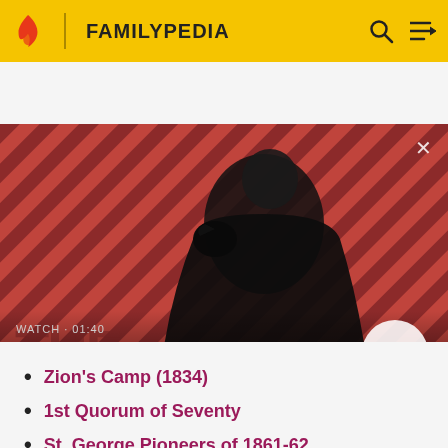FAMILYPEDIA
[Figure (screenshot): Video thumbnail showing a dark-cloaked figure with a raven on shoulder against a red diagonal striped background. Title reads 'The Sandman Will Keep You Awake - The Loop' with WATCH · 01:40 label and a play button.]
Zion's Camp (1834)
1st Quorum of Seventy
St. George Pioneers of 1861-62